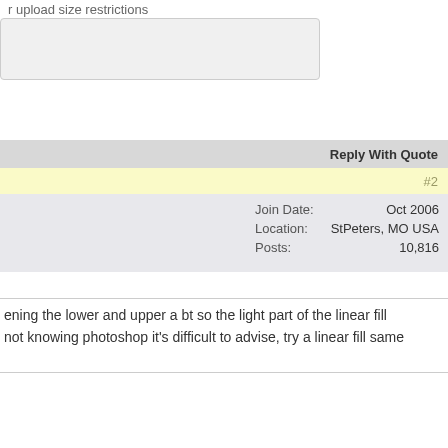r upload size restrictions
Reply With Quote
#2
| Join Date: | Oct 2006 |
| Location: | StPeters, MO USA |
| Posts: | 10,816 |
ening the lower and upper a bt so the light part of the linear fill not knowing photoshop it's difficult to advise, try a linear fill same